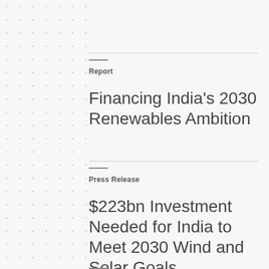Report
Financing India’s 2030 Renewables Ambition
Press Release
$223bn Investment Needed for India to Meet 2030 Wind and Solar Goals